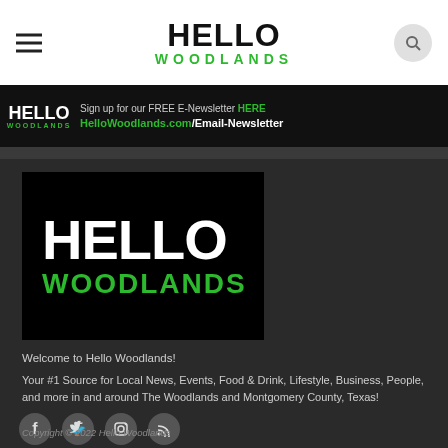HELLO WOODLANDS navigation bar with hamburger menu and search icon
[Figure (logo): Hello Woodlands banner with newsletter signup text: Sign up for our FREE E-Newsletter HERE HelloWoodlands.com/Email-Newsletter]
[Figure (logo): Hello Woodlands logo - HELLO in white bold, WOODLANDS in green bold on black background]
Welcome to Hello Woodlands!
Your #1 Source for Local News, Events, Food & Drink, Lifestyle, Business, People, and more in and around The Woodlands and Montgomery County, Texas!
[Figure (other): Social media icons: Facebook, Twitter, Instagram, RSS]
Copyright © 2022 Hello Woodlands